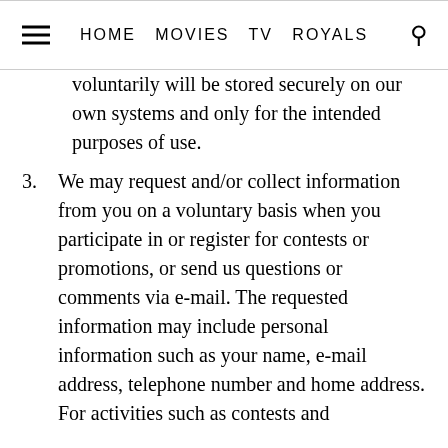HOME  MOVIES  TV  ROYALS
voluntarily will be stored securely on our own systems and only for the intended purposes of use.
3. We may request and/or collect information from you on a voluntary basis when you participate in or register for contests or promotions, or send us questions or comments via e-mail. The requested information may include personal information such as your name, e-mail address, telephone number and home address. For activities such as contests and